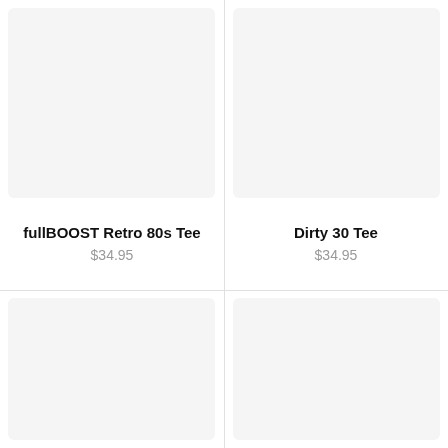[Figure (photo): Product image placeholder for fullBOOST Retro 80s Tee (light gray background)]
[Figure (photo): Product image placeholder for Dirty 30 Tee (light gray background)]
fullBOOST Retro 80s Tee
$34.95
Dirty 30 Tee
$34.95
[Figure (photo): Product image placeholder bottom left (light gray background)]
[Figure (photo): Product image placeholder bottom right (light gray background)]